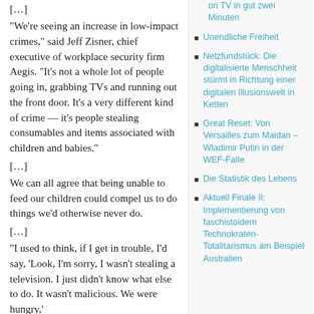[…]
“We’re seeing an increase in low-impact crimes,” said Jeff Zisner, chief executive of workplace security firm Aegis. “It’s not a whole lot of people going in, grabbing TVs and running out the front door. It’s a very different kind of crime — it’s people stealing consumables and items associated with children and babies.”
[…]
We can all agree that being unable to feed our children could compel us to do things we’d otherwise never do.
[…]
“I used to think, if I get in trouble, I’d say, ‘Look, I’m sorry, I wasn’t stealing a television. I just didn’t know what else to do. It wasn’t malicious. We were hungry,’
on TV in gut zwei Minuten
Unendliche Freiheit
Netzfundstück: Die digitalisierte Menschheit stürmt in Richtung einer digitalen Illusionswelt in Ketten
Great Reset: Von Versailles zum Maidan – Wladimir Putin in der WEF-Falle
Die Statistik des Lebens
Aktuell Finale II: Implementierung von faschistoidem Technokraten-Totalitarismus am Beispiel Australien